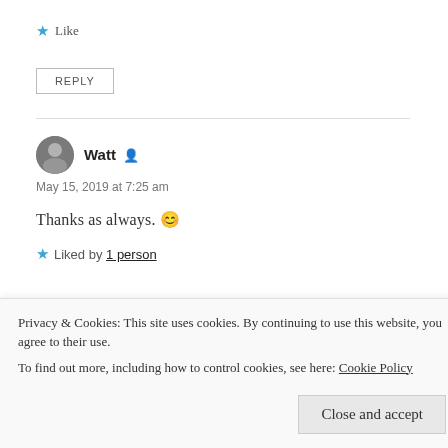★ Like
REPLY
Watt
May 15, 2019 at 7:25 am
Thanks as always. 😊
★ Liked by 1 person
REPLY
Privacy & Cookies: This site uses cookies. By continuing to use this website, you agree to their use.
To find out more, including how to control cookies, see here: Cookie Policy
Close and accept